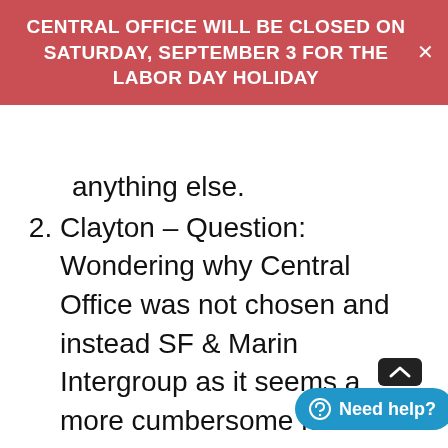CENTRAL OFFICE WILL BE CLOSED ON SATURDAY, SEPTEMBER 3 FOR THE LABOR DAY HOLIDAY
anything else.
Clayton – Question: Wondering why Central Office was not chosen and instead SF & Marin Intergroup as it seems a more cumbersome name
Charlie's Reponse – leaning towards a broader description to define what Intergroup does. IFAA is the legal name for who we are but nobody knows what it is. Didn't want to add confusion and felt it